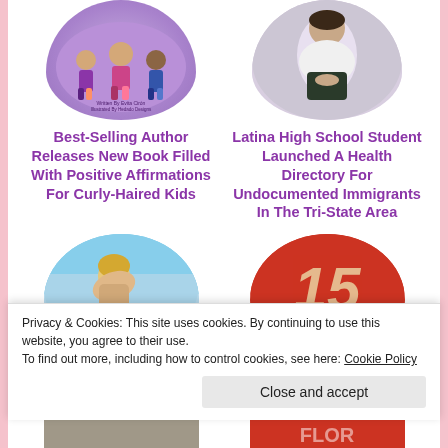[Figure (illustration): Circular cropped illustration of a book cover with cartoon figures and text 'Written By Evita Cirón, Illustrated By Hedado Designs']
[Figure (photo): Circular cropped photo of a young woman in a white top with dark skirt, sitting with hands clasped]
Best-Selling Author Releases New Book Filled With Positive Affirmations For Curly-Haired Kids
Latina High School Student Launched A Health Directory For Undocumented Immigrants In The Tri-State Area
[Figure (photo): Circular cropped photo of a blonde woman against a blue sky background]
[Figure (infographic): Circular red graphic showing the number 15]
Privacy & Cookies: This site uses cookies. By continuing to use this website, you agree to their use.
To find out more, including how to control cookies, see here: Cookie Policy
Close and accept